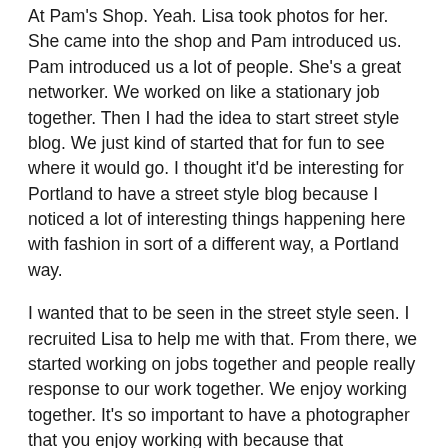At Pam's Shop. Yeah. Lisa took photos for her. She came into the shop and Pam introduced us. Pam introduced us a lot of people. She's a great networker. We worked on like a stationary job together. Then I had the idea to start street style blog. We just kind of started that for fun to see where it would go. I thought it'd be interesting for Portland to have a street style blog because I noticed a lot of interesting things happening here with fashion in sort of a different way, a Portland way.
I wanted that to be seen in the street style seen. I recruited Lisa to help me with that. From there, we started working on jobs together and people really response to our work together. We enjoy working together. It's so important to have a photographer that you enjoy working with because that relationship really has to work on set. Because working on set can be intense. You definitely want to be working with people you like.